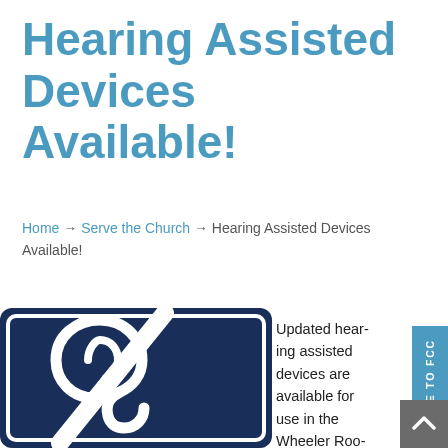Hearing Assisted Devices Available!
Home → Serve the Church → Hearing Assisted Devices Available!
[Figure (illustration): Dark navy blue sign with white hearing assistance icon (ear with diagonal line/sound wave symbol), indicating hearing assisted devices are available.]
Updated hearing assisted devices are available for use in the Wheeler Room, Chapel, and Sanctuary. Whether you use